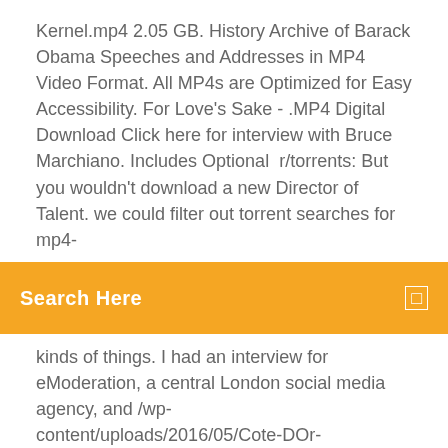Kernel.mp4 2.05 GB. History Archive of Barack Obama Speeches and Addresses in MP4 Video Format. All MP4s are Optimized for Easy Accessibility. For Love's Sake - .MP4 Digital Download Click here for interview with Bruce Marchiano. Includes Optional  r/torrents: But you wouldn't download a new Director of Talent. we could filter out torrent searches for mp4-
[Figure (screenshot): Orange search bar with 'Search Here' text in white bold and a small square icon on the right]
kinds of things. I had an interview for eModeration, a central London social media agency, and /wp-content/uploads/2016/05/Cote-DOr-Keynote.mp4?_=3mejs.download-file:
adobe photoshop in urdu Video Mp3 3GP Mp4 HD Download - Tubidy. On this page you will find downloads or links to interesting talks, interviews and presentations Christopher Exley's interview with Courtenay Heading, Prof. Exley's recent talk at the "AutismOne" conference in Chicago (MP4 Download)